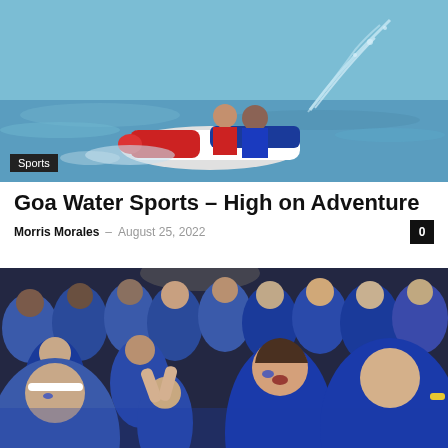[Figure (photo): Two people riding a jet ski on the ocean, wearing life jackets, with water spray behind them]
Sports
Goa Water Sports – High on Adventure
Morris Morales – August 25, 2022  0
[Figure (photo): Crowd of excited sports fans cheering, many wearing blue, with face paint, at an indoor event]